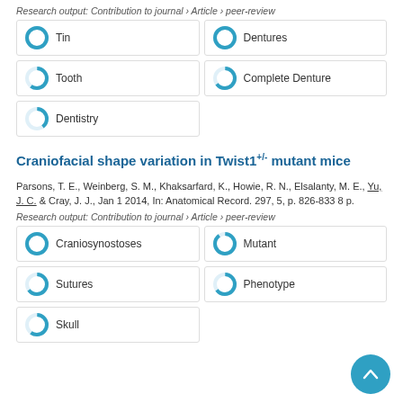Research output: Contribution to journal › Article › peer-review
[Figure (infographic): Five keyword badges with donut-style percentage icons: Tin (100%), Dentures (100%), Tooth (60%), Complete Denture (65%), Dentistry (40%)]
Craniofacial shape variation in Twist1+/- mutant mice
Parsons, T. E., Weinberg, S. M., Khaksarfard, K., Howie, R. N., Elsalanty, M. E., Yu, J. C. & Cray, J. J., Jan 1 2014, In: Anatomical Record. 297, 5, p. 826-833 8 p.
Research output: Contribution to journal › Article › peer-review
[Figure (infographic): Five keyword badges with donut-style percentage icons: Craniosynostoses (100%), Mutant (90%), Sutures (65%), Phenotype (65%), Skull (60%)]